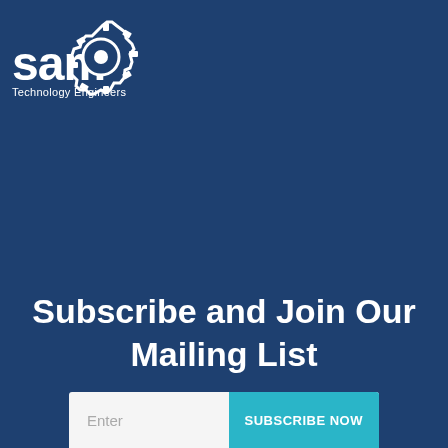[Figure (logo): SAM Technology Engineers logo — white text 'sam' with gear/cog icon on dark blue background]
Subscribe and Join Our Mailing List
Enter  SUBSCRIBE NOW